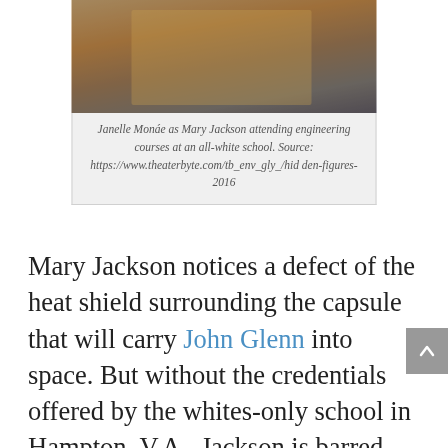[Figure (photo): Janelle Monáe as Mary Jackson sitting at a desk in a classroom, wearing a yellow cardigan, in a scene from Hidden Figures 2016]
Janelle Monáe as Mary Jackson attending engineering courses at an all-white school. Source: https://www.theaterbyte.com/tb_env_gly_/hidden-figures-2016
Mary Jackson notices a defect of the heat shield surrounding the capsule that will carry John Glenn into space. But without the credentials offered by the whites-only school in Hampton, V.A., Jackson is barred from contributing her talent.